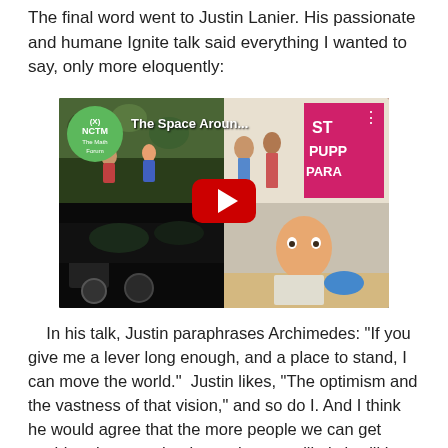The final word went to Justin Lanier. His passionate and humane Ignite talk said everything I wanted to say, only more eloquently:
[Figure (screenshot): YouTube video thumbnail for 'The Space Aroun...' with NCTM The Math Forum logo badge in top-left corner, showing a collage of children outdoors and a child working at a desk, with a red YouTube play button in the center]
In his talk, Justin paraphrases Archimedes: "If you give me a lever long enough, and a place to stand, I can move the world." Justin likes, "The optimism and the vastness of that vision," and so do I. And I think he would agree that the more people we can get pushing down on that lever, the more likely it will be that the world will move.